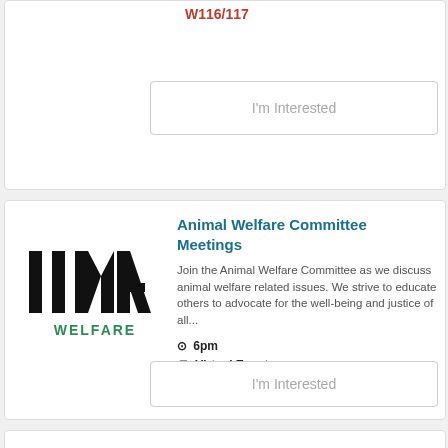W116/117
I'm Interested
[Figure (logo): IIMA Animal Welfare logo with bold black vertical bars spelling 'IIMA' and green text 'WELFARE' below]
Animal Welfare Committee Meetings
Join the Animal Welfare Committee as we discuss animal welfare related issues. We strive to educate others to advocate for the well-being and justice of all...
6pm
Virtual Event
I'm Interested